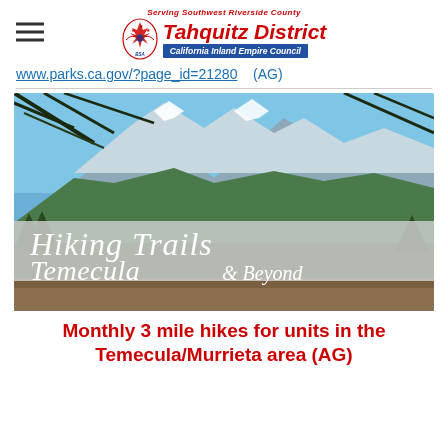Serving Southwest Riverside County Tahquitz District California Inland Empire Council
www.parks.ca.gov/?page_id=21280    (AG)
[Figure (photo): Mountain landscape with pine trees and a banner reading 'Hiking Trails Temecula & Beyond']
Monthly 3 mile hikes for units in the Temecula/Murrieta area (AG)